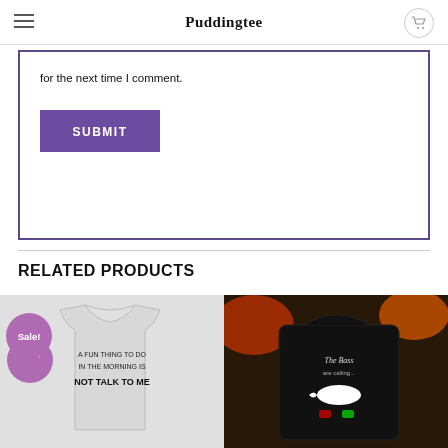Puddingtee
for the next time I comment.
SUBMIT
RELATED PRODUCTS
[Figure (photo): Gray t-shirt with text 'A FUN THING TO DO IN THE MORNING IS NOT TALK TO ME', with purple Sale badge]
[Figure (photo): Black hoodie with 'The Bass are calling...' design showing a bass fish and phone screen]